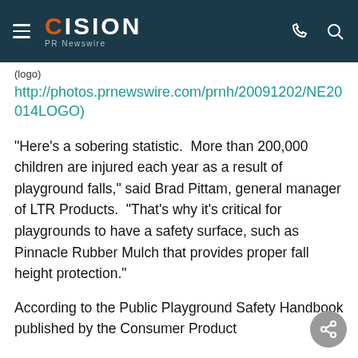CISION PR Newswire
(logo)
http://photos.prnewswire.com/prnh/20091202/NE20014LOGO)
"Here's a sobering statistic.  More than 200,000 children are injured each year as a result of playground falls," said Brad Pittam, general manager of LTR Products.  "That's why it's critical for playgrounds to have a safety surface, such as Pinnacle Rubber Mulch that provides proper fall height protection."
According to the Public Playground Safety Handbook published by the Consumer Product